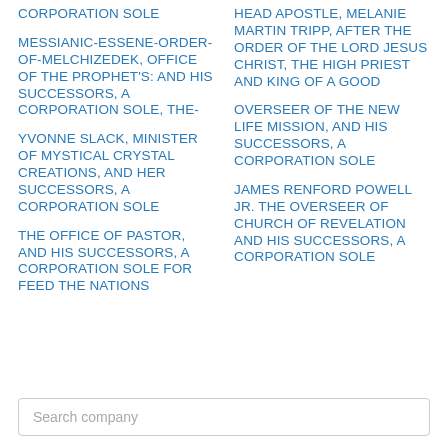CORPORATION SOLE
MESSIANIC-ESSENE-ORDER-OF-MELCHIZEDEK, OFFICE OF THE PROPHET'S: AND HIS SUCCESSORS, A CORPORATION SOLE, THE-
YVONNE SLACK, MINISTER OF MYSTICAL CRYSTAL CREATIONS, AND HER SUCCESSORS, A CORPORATION SOLE
THE OFFICE OF PASTOR, AND HIS SUCCESSORS, A CORPORATION SOLE FOR FEED THE NATIONS
HEAD APOSTLE, MELANIE MARTIN TRIPP, AFTER THE ORDER OF THE LORD JESUS CHRIST, THE HIGH PRIEST AND KING OF A GOOD
OVERSEER OF THE NEW LIFE MISSION, AND HIS SUCCESSORS, A CORPORATION SOLE
JAMES RENFORD POWELL JR. THE OVERSEER OF CHURCH OF REVELATION AND HIS SUCCESSORS, A CORPORATION SOLE